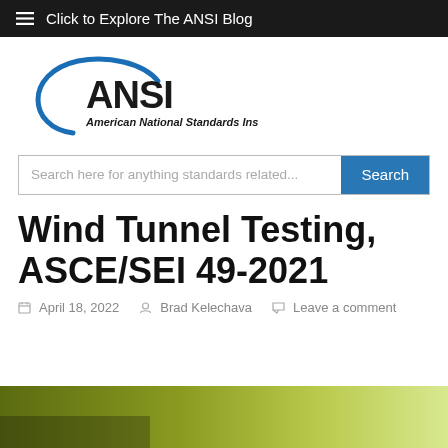Click to Explore The ANSI Blog
[Figure (logo): ANSI – American National Standards Institute logo with blue arc]
Search here for anything standards related...
Wind Tunnel Testing, ASCE/SEI 49-2021
April 18, 2022   Brad Kelechava   Leave a comment
[Figure (photo): Green gradient landscape image at bottom of page]